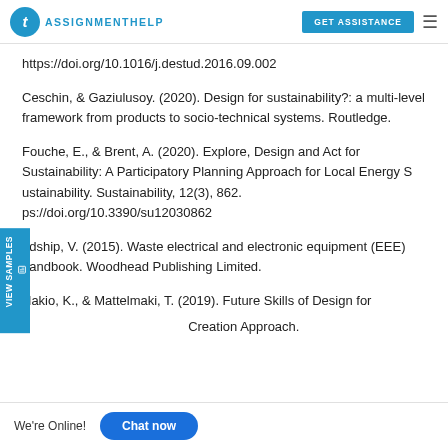TAssignmentHelp | GET ASSISTANCE
https://doi.org/10.1016/j.destud.2016.09.002
Ceschin, & Gaziulusoy. (2020). Design for sustainability?: a multi-level framework from products to socio-technical systems. Routledge.
Fouche, E., & Brent, A. (2020). Explore, Design and Act for Sustainability: A Participatory Planning Approach for Local Energy Sustainability. Sustainability, 12(3), 862. https://doi.org/10.3390/su12030862
odship, V. (2015). Waste electrical and electronic equipment (EEE) handbook. Woodhead Publishing Limited.
Hakio, K., & Mattelmaki, T. (2019). Future Skills of Design for ... Creation Approach.